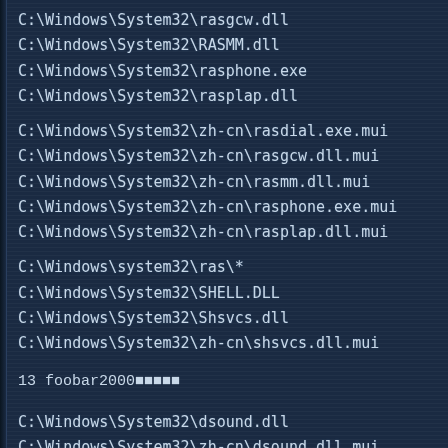C:\Windows\System32\rasgcw.dll
C:\Windows\System32\RASMM.dll
C:\Windows\System32\rasphone.exe
C:\Windows\System32\rasplap.dll
C:\Windows\System32\zh-cn\rasdial.exe.mui
C:\Windows\System32\zh-cn\rasgcw.dll.mui
C:\Windows\System32\zh-cn\rasmm.dll.mui
C:\Windows\System32\zh-cn\rasphone.exe.mui
C:\Windows\System32\zh-cn\rasplap.dll.mui
C:\Windows\system32\ras\*
C:\Windows\System32\SHELL.DLL
C:\Windows\System32\Shsvcs.dll
C:\Windows\System32\zh-cn\shsvcs.dll.mui
13 foobar2000（插件）
C:\Windows\System32\dsound.dll
C:\Windows\System32\zh-cn\dsound.dll.mui